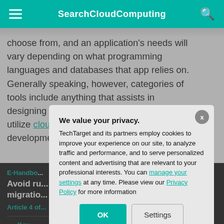SearchCloudComputing
choose from, and an application's needs will vary depending on what programming languages and databases that app relies on. Generally speaking, however, categories of tools include anything that assists in designing and developing microservices that utilize cloud-nati... development an...
E-Handbo...
Avoid ru... migratio...
Article 4 of...
Key... refa... the...
We value your privacy.
TechTarget and its partners employ cookies to improve your experience on our site, to analyze traffic and performance, and to serve personalized content and advertising that are relevant to your professional interests. You can manage your settings at any time. Please view our Privacy Policy for more information